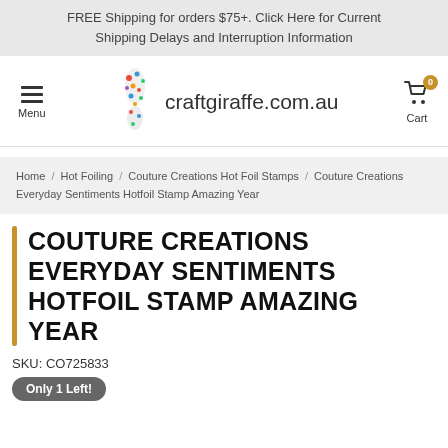FREE Shipping for orders $75+. Click Here for Current Shipping Delays and Interruption Information
[Figure (logo): Craft Giraffe logo with colorful giraffe neck and text 'craftgiraffe.com.au', hamburger menu icon on left, cart icon with '0' badge on right]
Home / Hot Foiling / Couture Creations Hot Foil Stamps / Couture Creations Everyday Sentiments Hotfoil Stamp Amazing Year
COUTURE CREATIONS EVERYDAY SENTIMENTS HOTFOIL STAMP AMAZING YEAR
SKU: CO725833
Only 1 Left!